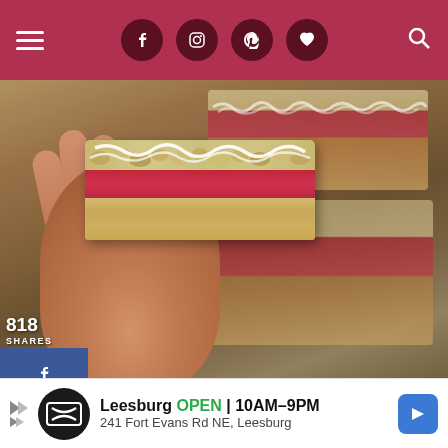Navigation header with hamburger menu, social icons (Facebook, Instagram, Pinterest, heart/favorites), and search icon on dark red background
[Figure (photo): A hand holding up a raspberry or strawberry crumble bar with white icing drizzle over a crumble topping and jam filling on a shortbread base. More bars visible in the background on a baking tray.]
818
SHARES
[Figure (infographic): Social share sidebar with Facebook (blue), Twitter (light blue), and Pinterest (red) share buttons]
[Figure (infographic): Advertisement banner: Leesburg OPEN 10AM-9PM | 241 Fort Evans Rd NE, Leesburg with navigation arrow icon]